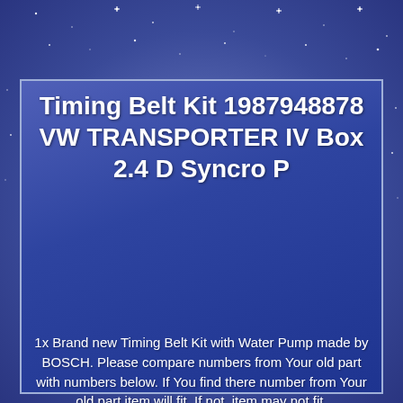[Figure (illustration): Blue starry background with a darker blue rectangular card/panel in the center-lower portion of the image]
Timing Belt Kit 1987948878 VW TRANSPORTER IV Box 2.4 D Syncro P
1x Brand new Timing Belt Kit with Water Pump made by BOSCH. Please compare numbers from Your old part with numbers below. If You find there number from Your old part item will fit. If not, item may not fit.